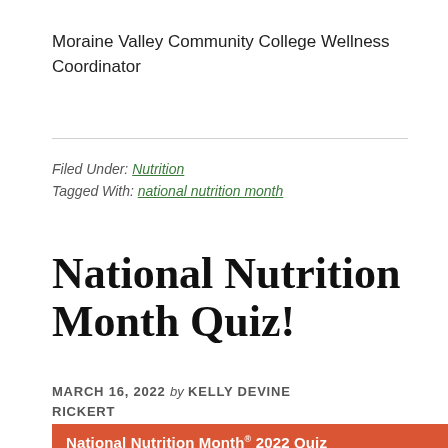Moraine Valley Community College Wellness Coordinator
Filed Under: Nutrition
Tagged With: national nutrition month
National Nutrition Month Quiz!
MARCH 16, 2022 by KELLY DEVINE RICKERT
[Figure (other): Orange banner reading 'National Nutrition Month® 2022 Quiz']